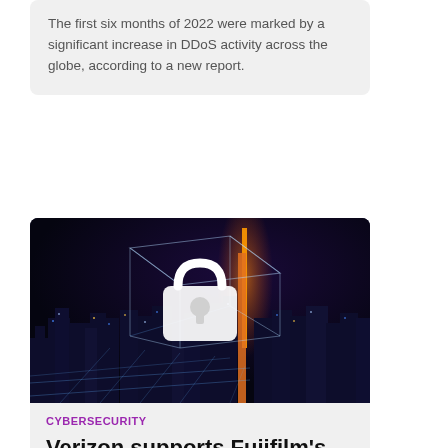The first six months of 2022 were marked by a significant increase in DDoS activity across the globe, according to a new report.
[Figure (photo): Night city skyline with a glowing digital padlock and white wireframe grid overlay, representing cybersecurity. Dark blue tone with orange light highlights.]
CYBERSECURITY
Verizon supports Fujifilm's cybersecurity advancements
Verizon Business is supporting Japan's Fujifilm Holdings to strengthen its